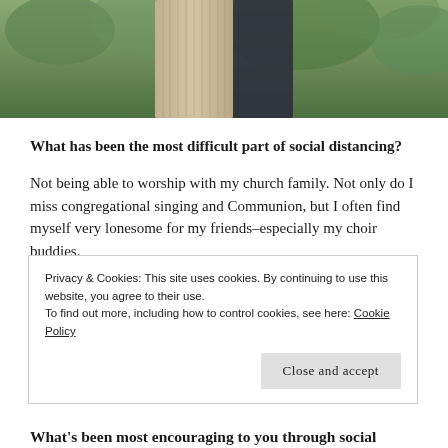[Figure (photo): Partial photo of people outdoors against green foliage background, cropped showing lower portion of figures]
What has been the most difficult part of social distancing?
Not being able to worship with my church family. Not only do I miss congregational singing and Communion, but I often find myself very lonesome for my friends–especially my choir buddies.
Have any blessings come out of it?
Privacy & Cookies: This site uses cookies. By continuing to use this website, you agree to their use.
To find out more, including how to control cookies, see here: Cookie Policy
What's been most encouraging to you through social